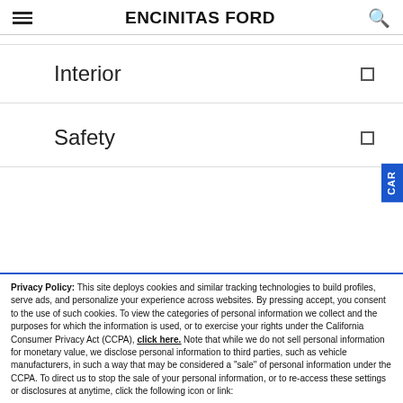ENCINITAS FORD
Interior
Safety
Privacy Policy: This site deploys cookies and similar tracking technologies to build profiles, serve ads, and personalize your experience across websites. By pressing accept, you consent to the use of such cookies. To view the categories of personal information we collect and the purposes for which the information is used, or to exercise your rights under the California Consumer Privacy Act (CCPA), click here. Note that while we do not sell personal information for monetary value, we disclose personal information to third parties, such as vehicle manufacturers, in such a way that may be considered a "sale" of personal information under the CCPA. To direct us to stop the sale of your personal information, or to re-access these settings or disclosures at anytime, click the following icon or link:
Do Not Sell My Personal Information
Language: English
Powered by ComplyAuto
Accept and Continue →
California Privacy Disclosures